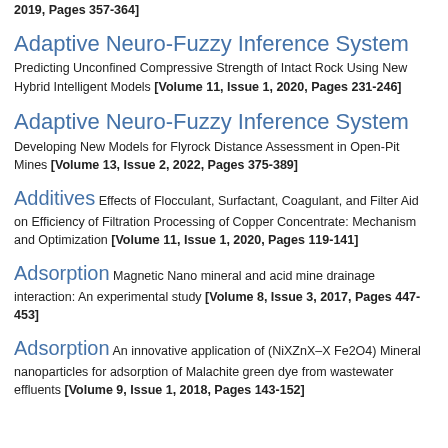2019, Pages 357-364]
Adaptive Neuro-Fuzzy Inference System Predicting Unconfined Compressive Strength of Intact Rock Using New Hybrid Intelligent Models [Volume 11, Issue 1, 2020, Pages 231-246]
Adaptive Neuro-Fuzzy Inference System Developing New Models for Flyrock Distance Assessment in Open-Pit Mines [Volume 13, Issue 2, 2022, Pages 375-389]
Additives Effects of Flocculant, Surfactant, Coagulant, and Filter Aid on Efficiency of Filtration Processing of Copper Concentrate: Mechanism and Optimization [Volume 11, Issue 1, 2020, Pages 119-141]
Adsorption Magnetic Nano mineral and acid mine drainage interaction: An experimental study [Volume 8, Issue 3, 2017, Pages 447-453]
Adsorption An innovative application of (NiXZnX-X Fe2O4) Mineral nanoparticles for adsorption of Malachite green dye from wastewater effluents [Volume 9, Issue 1, 2018, Pages 143-152]